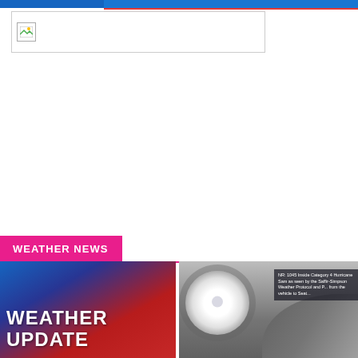[Figure (other): Broken/missing image placeholder with small icon]
WEATHER NEWS
[Figure (photo): Weather Update graphic with red and blue background and bold white text reading WEATHER UPDATE]
[Figure (photo): Satellite image of hurricane eye with overlay text about Category 4 hurricane and Saffir-Simpson Weather Protocol]